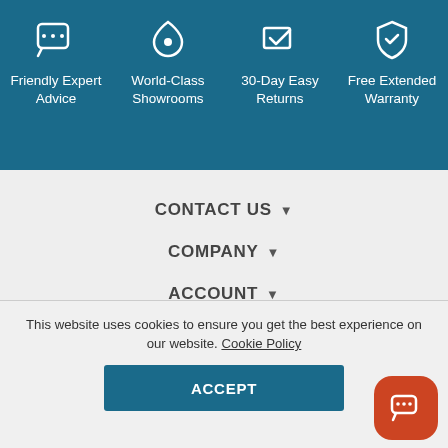[Figure (infographic): Header banner with four feature icons and labels on a dark teal background: Friendly Expert Advice, World-Class Showrooms, 30-Day Easy Returns, Free Extended Warranty]
CONTACT US ▼
COMPANY ▼
ACCOUNT ▼
ORDERS & RETURNS ▼
PAYMENT OPTIONS ▼
SERVICES ▼
This website uses cookies to ensure you get the best experience on our website. Cookie Policy
ACCEPT